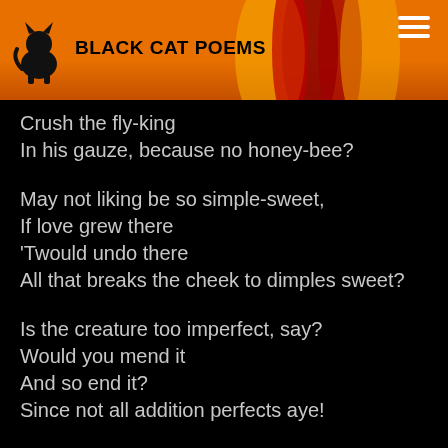BLACK CAT POEMS
Crush the fly-king
In his gauze, because no honey-bee?

May not liking be so simple-sweet,
If love grew there
'Twould undo there
All that breaks the cheek to dimples sweet?

Is the creature too imperfect, say?
Would you mend it
And so end it?
Since not all addition perfects aye!

Or is it of its kind, perhaps,
Just perfection—
Whence, rejection
Of a grace not to its mind, perhaps?